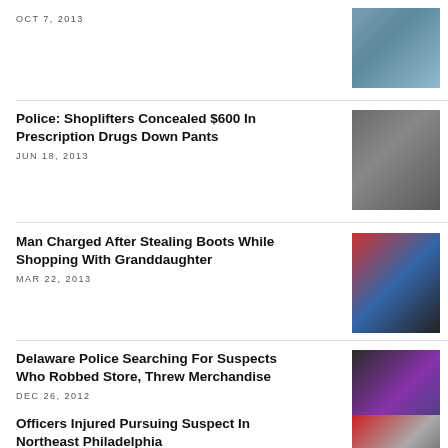OCT 7, 2013
[Figure (photo): Close-up photo of hands or fabric in blue/grey tones]
Police: Shoplifters Concealed $600 In Prescription Drugs Down Pants
JUN 18, 2013
[Figure (photo): Security camera footage of shoplifting suspects in a store]
Man Charged After Stealing Boots While Shopping With Granddaughter
MAR 22, 2013
[Figure (photo): Police car with flashing red and blue lights on roof]
Delaware Police Searching For Suspects Who Robbed Store, Threw Merchandise
DEC 26, 2012
[Figure (photo): Two suspects captured on store surveillance camera]
Officers Injured Pursuing Suspect In Northeast Philadelphia
[Figure (photo): Store interior photo]